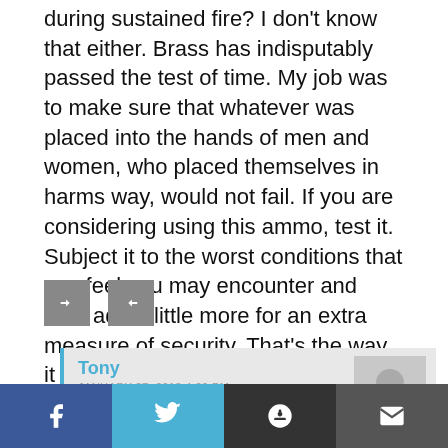during sustained fire? I don't know that either. Brass has indisputably passed the test of time. My job was to make sure that whatever was placed into the hands of men and women, who placed themselves in harms way, would not fail. If you are considering using this ammo, test it. Subject it to the worst conditions that you feel you may encounter and then add a little more for an extra measure of security. That's the way it should be with anything you may have to stake your life on.
[Figure (other): Two small grey share/action buttons]
Tony
JANUARY 27, 2012 4:39 PM
…ship with the former
[Figure (other): Social sharing bar at bottom: Facebook, Twitter, Reddit, Email buttons]